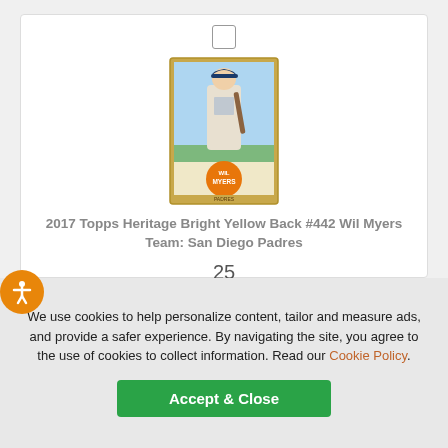[Figure (photo): Baseball card: 2017 Topps Heritage Bright Yellow Back #442 Wil Myers, San Diego Padres player holding a bat, with orange team logo at bottom]
2017 Topps Heritage Bright Yellow Back #442 Wil Myers
Team: San Diego Padres
25
NM-MT
1
$24.00
We use cookies to help personalize content, tailor and measure ads, and provide a safer experience. By navigating the site, you agree to the use of cookies to collect information. Read our Cookie Policy.
Accept & Close